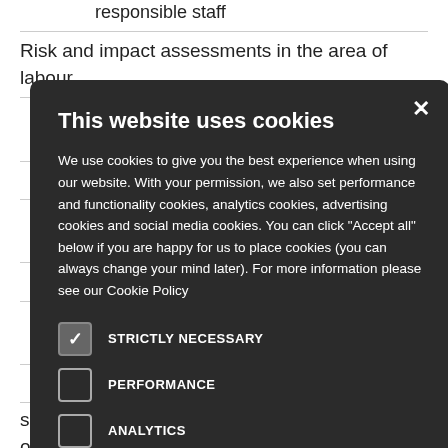responsible staff
Risk and impact assessments in the area of labour
to regularly n addressing
ntability within
on the labour ees
dress labour-
n channels and echanisms)
make suggestions or seek advice, designed and operated in
[Figure (screenshot): Cookie consent modal overlay with dark background showing title 'This website uses cookies', body text about cookie usage, and checkboxes for: STRICTLY NECESSARY (checked), PERFORMANCE (unchecked), ANALYTICS (unchecked), FUNCTIONALITY (unchecked), SOCIAL MEDIA (unchecked). X close button in top right.]